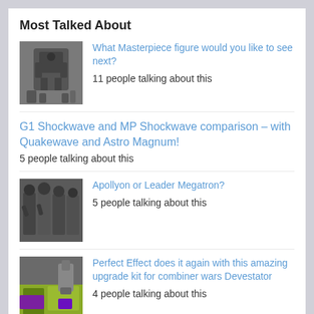Most Talked About
[Figure (photo): Photo of black Transformer robot figure with smaller figures]
What Masterpiece figure would you like to see next?
11 people talking about this
G1 Shockwave and MP Shockwave comparison – with Quakewave and Astro Magnum!
5 people talking about this
[Figure (photo): Photo of dark Transformer figures standing together]
Apollyon or Leader Megatron?
5 people talking about this
[Figure (photo): Photo of Transformer upgrade kit with green and purple parts]
Perfect Effect does it again with this amazing upgrade kit for combiner wars Devestator
4 people talking about this
[Figure (photo): Photo of Transformer prototype, partial view]
Some nice new prototype pictures of